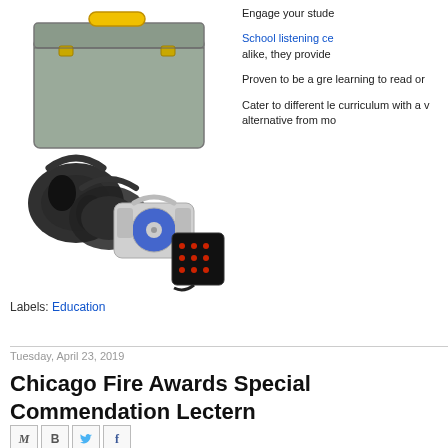[Figure (photo): A school listening center kit showing a grey toolbox with yellow handle and clasps, multiple black over-ear headphones, a blue/grey CD boombox, and a black multi-port headphone splitter device, all arranged together.]
Engage your stude
School listening ce alike, they provide
Proven to be a gre learning to read or
Cater to different le curriculum with a v alternative from mo
Labels: Education
Tuesday, April 23, 2019
Chicago Fire Awards Special Commendation Lectern
[Figure (other): Social sharing icons: Gmail (M), Blogger (B), Twitter bird, Facebook (f)]